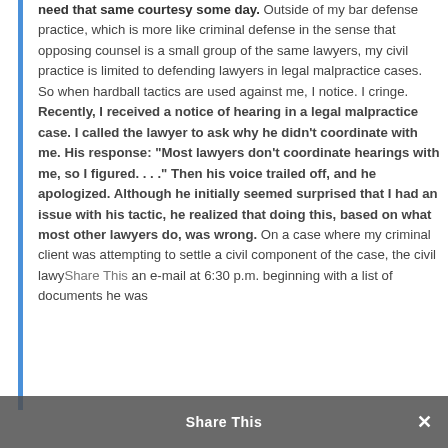need that same courtesy some day. Outside of my bar defense practice, which is more like criminal defense in the sense that opposing counsel is a small group of the same lawyers, my civil practice is limited to defending lawyers in legal malpractice cases. So when hardball tactics are used against me, I notice. I cringe. Recently, I received a notice of hearing in a legal malpractice case. I called the lawyer to ask why he didn't coordinate with me. His response: “Most lawyers don’t coordinate hearings with me, so I figured. . . .” Then his voice trailed off, and he apologized. Although he initially seemed surprised that I had an issue with his tactic, he realized that doing this, based on what most other lawyers do, was wrong. On a case where my criminal client was attempting to settle a civil component of the case, the civil lawyer sent an e-mail at 6:30 p.m. beginning with a list of documents he was
Share This